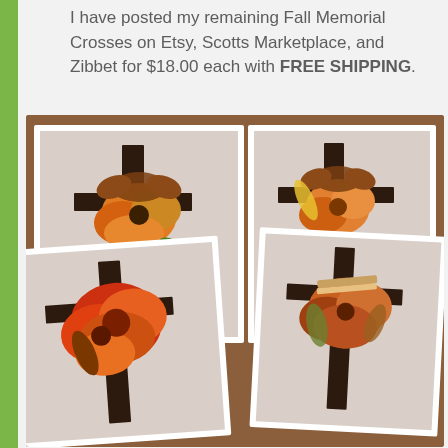I have posted my remaining Fall Memorial Crosses on Etsy, Scotts Marketplace, and Zibbet for $18.00 each with FREE SHIPPING.
[Figure (photo): A collage of four photographs showing decorative wooden memorial crosses adorned with fall flowers (orange, red, rust dahlias, mums) and brown ribbons, displayed against a white brick background.]